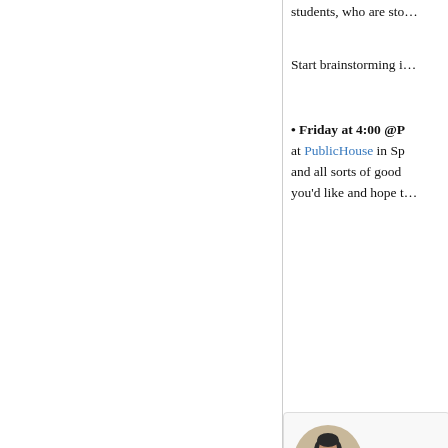students, who are sto…
Start brainstorming i…
• Friday at 4:00 @P… at PublicHouse in Sp… and all sorts of good … you'd like and hope t…
[Figure (photo): Circular profile photo of a bearded man in a black t-shirt, sitting cross-legged]
your
diffe
them
yet